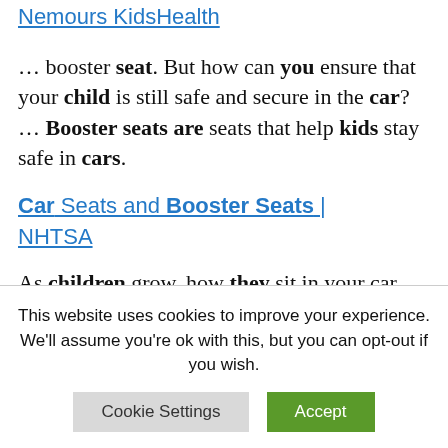Nemours KidsHealth
… booster seat. But how can you ensure that your child is still safe and secure in the car? … Booster seats are seats that help kids stay safe in cars.
Car Seats and Booster Seats | NHTSA
As children grow, how they sit in your car will change. Make sure you
This website uses cookies to improve your experience. We'll assume you're ok with this, but you can opt-out if you wish.